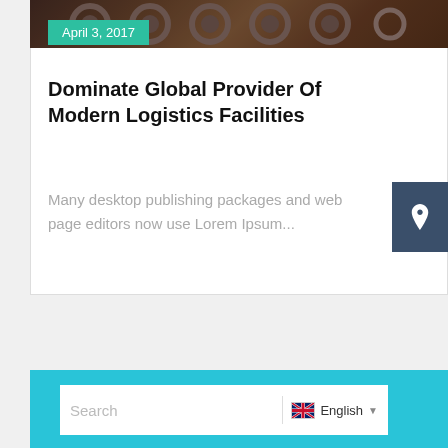[Figure (photo): Dark industrial image showing mechanical parts/logistics equipment at the top of the card]
April 3, 2017
Dominate Global Provider Of Modern Logistics Facilities
Many desktop publishing packages and web page editors now use Lorem Ipsum...
[Figure (other): Location pin icon button in dark blue/slate color on the right side]
Search
English